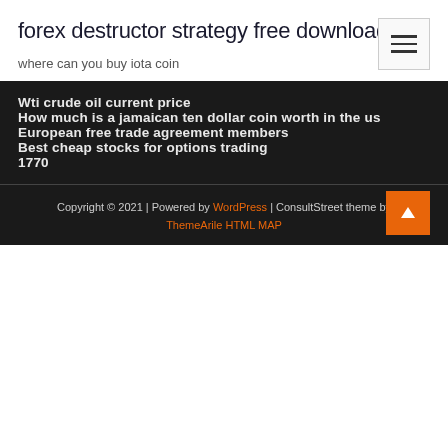forex destructor strategy free download
where can you buy iota coin
Wti crude oil current price
How much is a jamaican ten dollar coin worth in the us
European free trade agreement members
Best cheap stocks for options trading
1770
Copyright © 2021 | Powered by WordPress | ConsultStreet theme by ThemeArile HTML MAP